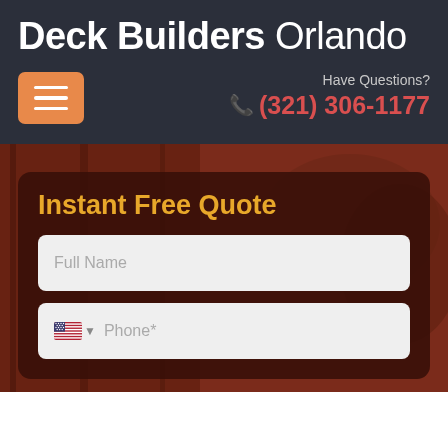Deck Builders Orlando
[Figure (screenshot): Orange hamburger menu button with three white horizontal lines]
Have Questions?
(321) 306-1177
[Figure (photo): Background photo of a deck/outdoor area with red-orange tint overlay]
Instant Free Quote
Full Name
Phone*